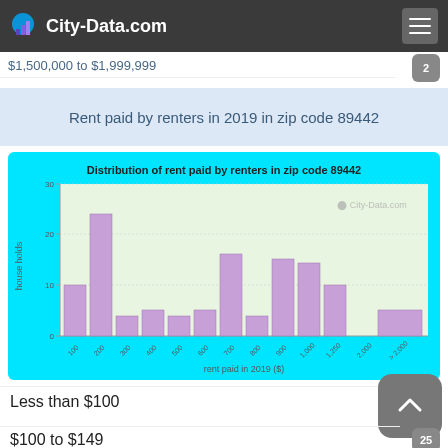$1,000,000 to $1,499,999
City-Data.com
$1,500,000 to $1,999,999
Rent paid by renters in 2019 in zip code 89442
[Figure (bar-chart): Distribution of rent paid by renters in zip code 89442]
Less than $100
$100 to $149